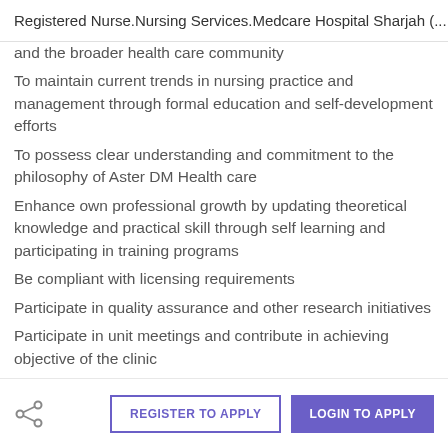Registered Nurse.Nursing Services.Medcare Hospital Sharjah (...
and the broader health care community
To maintain current trends in nursing practice and management through formal education and self-development efforts
To possess clear understanding and commitment to the philosophy of Aster DM Health care
Enhance own professional growth by updating theoretical knowledge and practical skill through self learning and participating in training programs
Be compliant with licensing requirements
Participate in quality assurance and other research initiatives
Participate in unit meetings and contribute in achieving objective of the clinic
Assist in development and /or implementation of unit
REGISTER TO APPLY   LOGIN TO APPLY